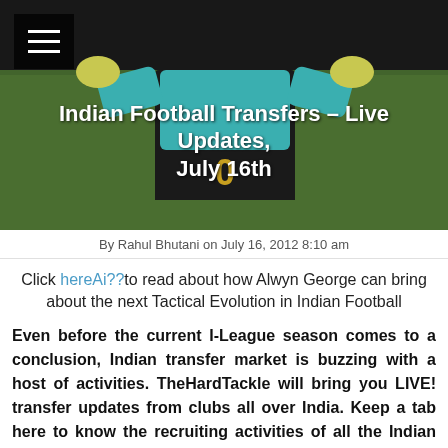[Figure (photo): A footballer (goalkeeper) in a teal/blue jersey and dark shorts on a grass field, viewed from torso down. Dark menu icon overlay in top-left corner.]
Indian Football Transfers – Live Updates, July 16th
By Rahul Bhutani on July 16, 2012 8:10 am
Click hereAi??to read about how Alwyn George can bring about the next Tactical Evolution in Indian Football
Even before the current I-League season comes to a conclusion, Indian transfer market is buzzing with a host of activities. TheHardTackle will bring you LIVE! transfer updates from clubs all over India. Keep a tab here to know the recruiting activities of all the Indian clubs for the up-coming 2012/13 season.